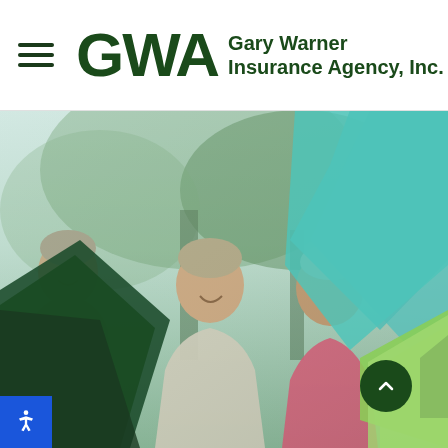[Figure (logo): GWA Gary Warner Insurance Agency, Inc. logo with hamburger menu icon on white header bar]
[Figure (photo): Three older women outdoors smiling and chatting, with geometric hexagon/arrow shapes overlaid in teal, dark green, and light green colors]